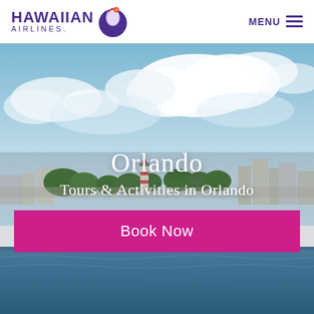[Figure (logo): Hawaiian Airlines logo with purple text and stylized profile icon]
MENU ≡
[Figure (photo): Waterfront scene with lighthouse, buildings, trees, and cloudy blue sky - Orlando]
Orlando
Tours & Activities in Orlando
Book Now